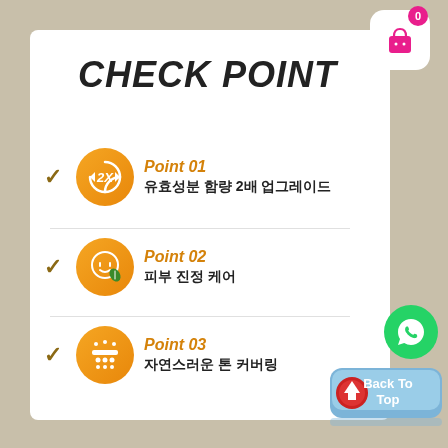CHECK POINT
Point 01 유효성분 함량 2배 업그레이드
Point 02 피부 진정 케어
Point 03 자연스러운 톤 커버링
[Figure (infographic): Shopping basket icon with 0 badge, WhatsApp icon, and Back To Top button as UI overlay elements]
[Figure (illustration): Korean skincare product infographic card on beige packaging background with three check points, orange circular icons for 2X ingredient upgrade, skin soothing care, and tone covering]